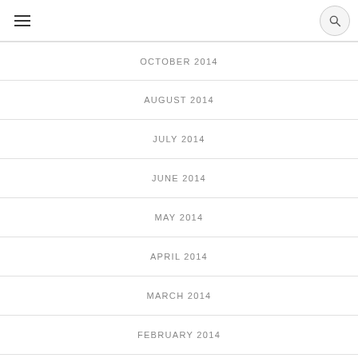OCTOBER 2014
AUGUST 2014
JULY 2014
JUNE 2014
MAY 2014
APRIL 2014
MARCH 2014
FEBRUARY 2014
JANUARY 2014